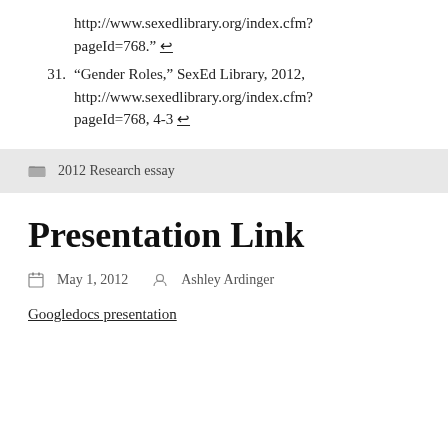http://www.sexedlibrary.org/index.cfm?pageId=768.
31. “Gender Roles,” SexEd Library, 2012, http://www.sexedlibrary.org/index.cfm?pageId=768, 4-3
2012 Research essay
Presentation Link
May 1, 2012   Ashley Ardinger
Googledocs presentation